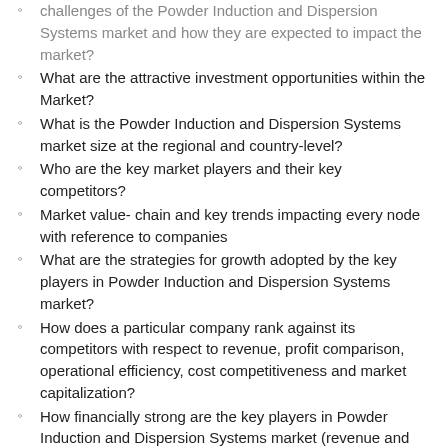challenges of the Powder Induction and Dispersion Systems market and how they are expected to impact the market?
What are the attractive investment opportunities within the Market?
What is the Powder Induction and Dispersion Systems market size at the regional and country-level?
Who are the key market players and their key competitors?
Market value- chain and key trends impacting every node with reference to companies
What are the strategies for growth adopted by the key players in Powder Induction and Dispersion Systems market?
How does a particular company rank against its competitors with respect to revenue, profit comparison, operational efficiency, cost competitiveness and market capitalization?
How financially strong are the key players in Powder Induction and Dispersion Systems market (revenue and profit margin, market capitalization, expenditure analysis, investment analysis)?
What are the recent trends in Powder Induction and Dispersion Systems market? (M&A, partnerships, new